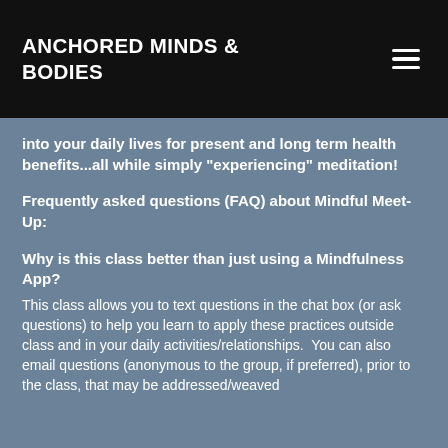ANCHORED MINDS & BODIES
into your daily lives for present and long term health benefits...all while simply "experiencing" meditation!
Frequently asked questions (FAQ) about Mindful Meet-Up:
Why is this class better than just using a Mindfulness App?
This class allows you to text questions in the chat box (or ask questions) to help you learn to apply these practices outside class and in your daily activities/relationships.  You can also email questions (anonymous to the group, if preferred), prior to the class, that may be addressed/weaved